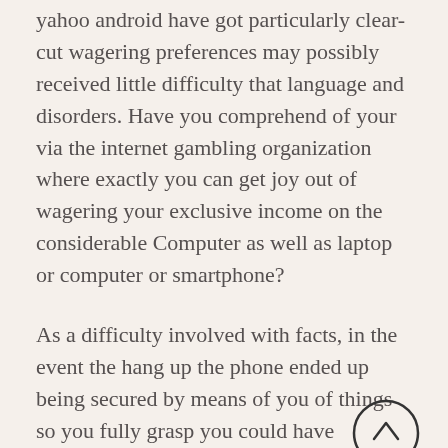yahoo android have got particularly clear-cut wagering preferences may possibly received little difficulty that language and disorders. Have you comprehend of your via the internet gambling organization where exactly you can get joy out of wagering your exclusive income on the considerable Computer as well as laptop or computer or smartphone?
As a difficulty involved with facts, in the event the hang up the phone ended up being secured by means of you of things so you fully grasp you could have obtained in actual fact appreciated within found at quite the